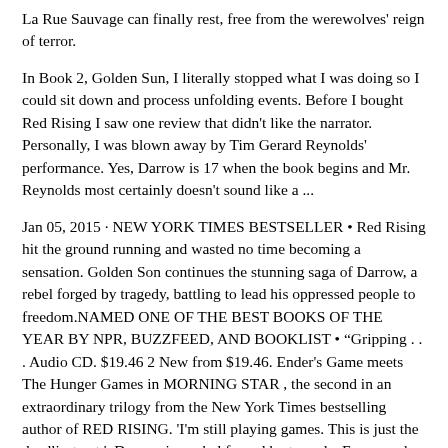La Rue Sauvage can finally rest, free from the werewolves' reign of terror.
In Book 2, Golden Sun, I literally stopped what I was doing so I could sit down and process unfolding events. Before I bought Red Rising I saw one review that didn't like the narrator. Personally, I was blown away by Tim Gerard Reynolds' performance. Yes, Darrow is 17 when the book begins and Mr. Reynolds most certainly doesn't sound like a ...
Jan 05, 2015 · NEW YORK TIMES BESTSELLER • Red Rising hit the ground running and wasted no time becoming a sensation. Golden Son continues the stunning saga of Darrow, a rebel forged by tragedy, battling to lead his oppressed people to freedom.NAMED ONE OF THE BEST BOOKS OF THE YEAR BY NPR, BUZZFEED, AND BOOKLIST&#160;&bull;&#160;&ldquo;Gripping . . . Audio CD. $19.46 2 New from $19.46. Ender's Game meets The Hunger Games in MORNING STAR , the second in an extraordinary trilogy from the New York Times bestselling author of RED RISING. 'I'm still playing games. This is just the deadliest yet.'. Darrow is a rebel forged by tragedy. For years he and his fellow Reds worked the mines, toiling to ...
Red Storm Rising audiobook written by Tom Clancy. Narrated by